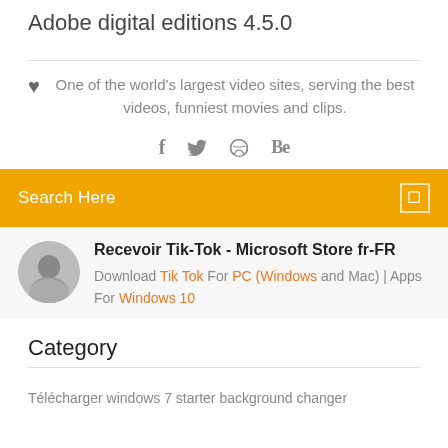Adobe digital editions 4.5.0
One of the world's largest video sites, serving the best videos, funniest movies and clips.
[Figure (infographic): Social media icons: Facebook (f), Twitter bird, Dribbble ball, Behance (Be)]
Search Here
Recevoir Tik-Tok - Microsoft Store fr-FR
Download Tik Tok For PC (Windows and Mac) | Apps For Windows 10
Category
Télécharger windows 7 starter background changer